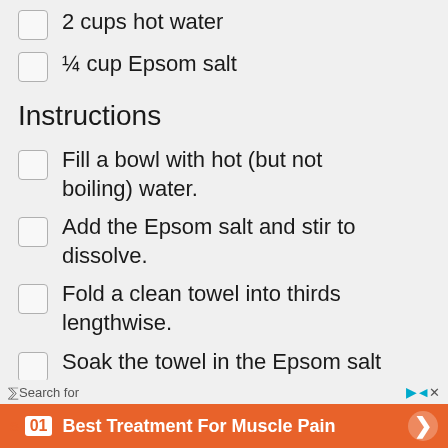2 cups hot water
¼ cup Epsom salt
Instructions
Fill a bowl with hot (but not boiling) water.
Add the Epsom salt and stir to dissolve.
Fold a clean towel into thirds lengthwise.
Soak the towel in the Epsom salt
Search for
01 Best Treatment For Muscle Pain